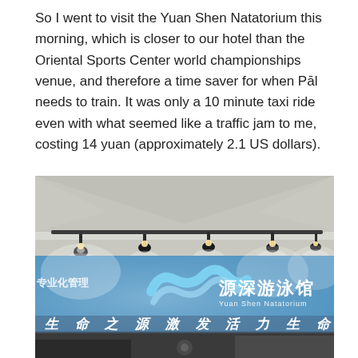So I went to visit the Yuan Shen Natatorium this morning, which is closer to our hotel than the Oriental Sports Center world championships venue, and therefore a time saver for when Páil needs to train. It was only a 10 minute taxi ride even with what seemed like a traffic jam to me, costing 14 yuan (approximately 2.1 US dollars).
[Figure (photo): Interior photo of the Yuan Shen Natatorium (源深游泳馆). The image shows the lobby or entrance area with a blue wall displaying the facility's logo and name in Chinese characters '源深游泳馆' and 'Yuan Shen Natatorium' in smaller text below. Track lighting hangs from the ceiling. A large Chinese text banner at the bottom reads '生命之源激发活力生命'. On the left side partially visible text reads '专业化管理'.]